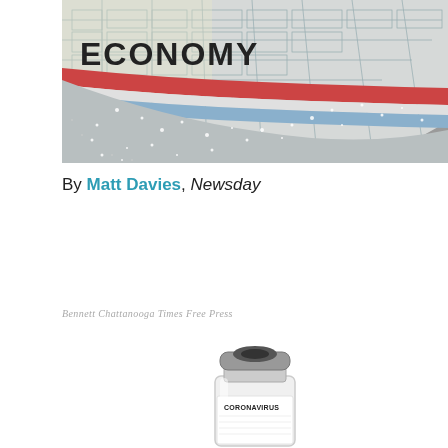[Figure (illustration): Editorial cartoon showing the hull of a large ship labeled 'ECONOMY' in bold letters, depicted with blueprints/schematic lines overlaid, colored in red, white, and blue stripes, appearing to be sinking or listing in gray water. Sparkles/light reflections visible on the water surface.]
By Matt Davies, Newsday
Bennett Chattanooga Times Free Press
[Figure (illustration): Editorial cartoon showing a medical vial/bottle labeled 'CORONAVIRUS' at the bottom, depicted as a vaccine or medicine bottle with a gray rubber stopper cap on top.]